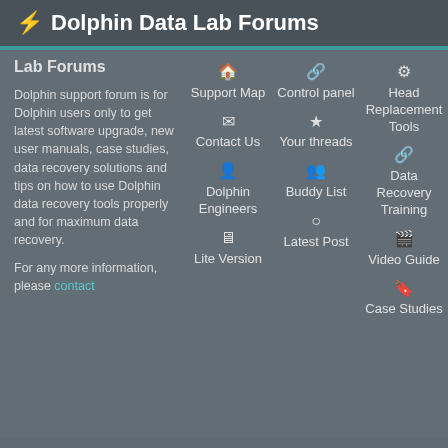⚡ Dolphin Data Lab Forums
Lab Forums
Dolphin support forum is for Dolphin users only to get latest software upgrade, new user manuals, case studies, data recovery solutions and tips on how to use Dolphin data recovery tools properly and for maximum data recovery.
For any more information, please contact
🏠 Support Map
✉ Contact Us
👤 Dolphin Engineers
🖥 Lite Version
🔗 Control panel
★ Your threads
👥 Buddy List
○ Latest Post
⚙ Head Replacement Tools
🔗 Data Recovery Training
🎬 Video Guide
🔖 Case Studies